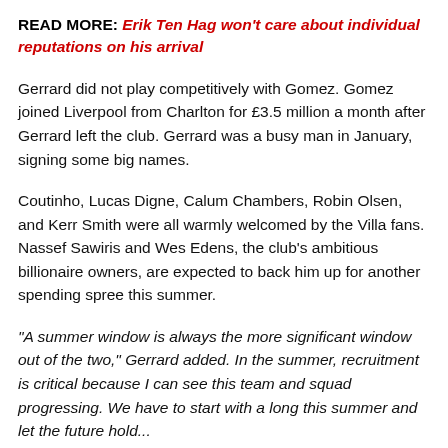READ MORE: Erik Ten Hag won't care about individual reputations on his arrival
Gerrard did not play competitively with Gomez. Gomez joined Liverpool from Charlton for £3.5 million a month after Gerrard left the club. Gerrard was a busy man in January, signing some big names.
Coutinho, Lucas Digne, Calum Chambers, Robin Olsen, and Kerr Smith were all warmly welcomed by the Villa fans. Nassef Sawiris and Wes Edens, the club's ambitious billionaire owners, are expected to back him up for another spending spree this summer.
"A summer window is always the more significant window out of the two," Gerrard added. In the summer, recruitment is critical because I can see this team and squad progressing. We have to start with a long this summer and let the future hold...